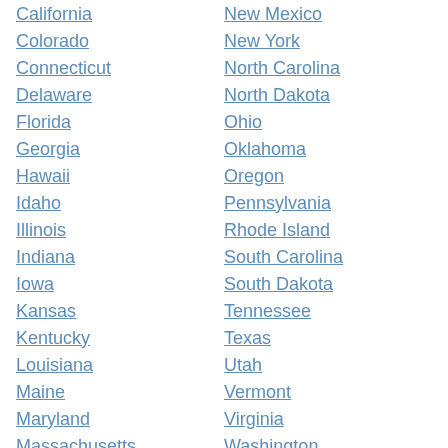California
New Mexico
Colorado
New York
Connecticut
North Carolina
Delaware
North Dakota
Florida
Ohio
Georgia
Oklahoma
Hawaii
Oregon
Idaho
Pennsylvania
Illinois
Rhode Island
Indiana
South Carolina
Iowa
South Dakota
Kansas
Tennessee
Kentucky
Texas
Louisiana
Utah
Maine
Vermont
Maryland
Virginia
Massachusetts
Washington